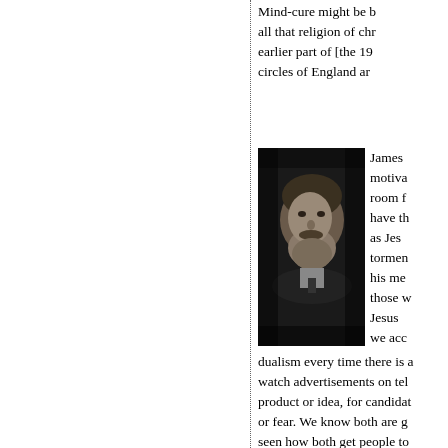Mind-cure might be b all that religion of chr earlier part of [the 19 circles of England ar
[Figure (photo): Black and white portrait photograph of a bearded man in dark formal attire, likely late 19th century style.]
James motiva room f have th as Jes tormen his me those w Jesus we acc dualism every time there is a watch advertisements on tel product or idea, for candidat or fear. We know both are g seen how both get people to for, however, is that just hop happen (any more than just